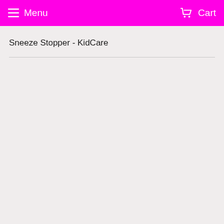Menu   Cart
Sneeze Stopper - KidCare